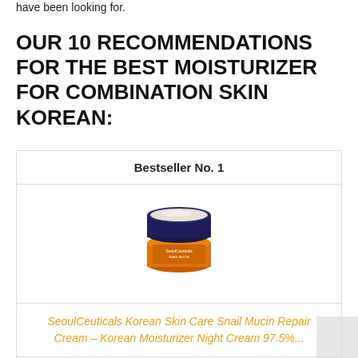have been looking for.
OUR 10 RECOMMENDATIONS FOR THE BEST MOISTURIZER FOR COMBINATION SKIN KOREAN:
Bestseller No. 1
[Figure (photo): A small jar of SeoulCeuticals Korean Skin Care Snail Mucin Repair Cream with dark blue lid and orange label]
SeoulCeuticals Korean Skin Care Snail Mucin Repair Cream – Korean Moisturizer Night Cream 97.5%…
Check Price